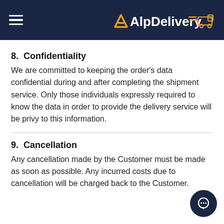AlpDelivery
8.  Confidentiality
We are committed to keeping the order's data confidential during and after completing the shipment service. Only those individuals expressly required to know the data in order to provide the delivery service will be privy to this information.
9.  Cancellation
Any cancellation made by the Customer must be made as soon as possible. Any incurred costs due to cancellation will be charged back to the Customer.